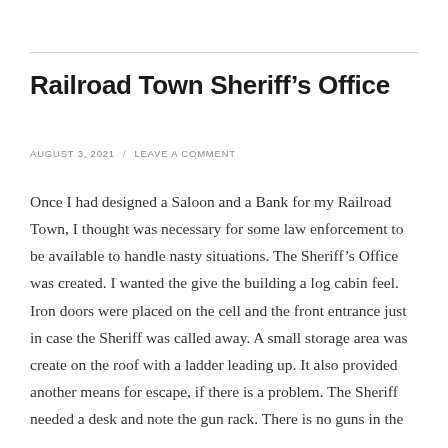Railroad Town Sheriff’s Office
AUGUST 3, 2021 / LEAVE A COMMENT
Once I had designed a Saloon and a Bank for my Railroad Town, I thought was necessary for some law enforcement to be available to handle nasty situations. The Sheriff’s Office was created. I wanted the give the building a log cabin feel. Iron doors were placed on the cell and the front entrance just in case the Sheriff was called away. A small storage area was create on the roof with a ladder leading up. It also provided another means for escape, if there is a problem. The Sheriff needed a desk and note the gun rack. There is no guns in the